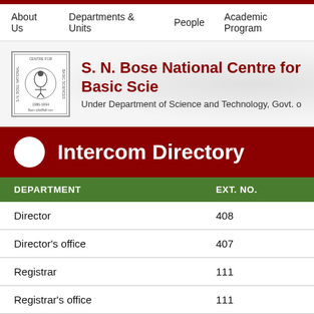About Us   Departments & Units   People   Academic Programs
S. N. Bose National Centre for Basic Sciences
Under Department of Science and Technology, Govt. of India
Intercom Directory
| DEPARTMENT | EXT. NO. |
| --- | --- |
| Director | 408 |
| Director's office | 407 |
| Registrar | 111 |
| Registrar's office | 111 |
| Deputy Registrar (Administration) | 409 |
| Consultant (Legal) | 105 |
| Administration & Establishment | 584 |